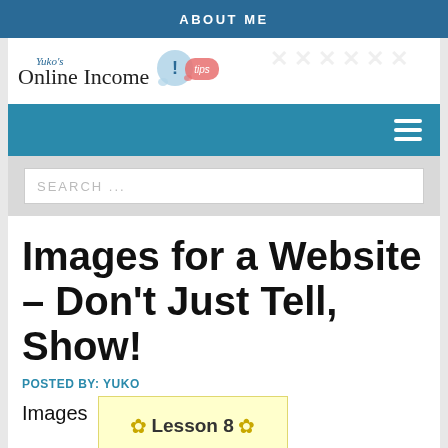ABOUT ME
[Figure (logo): Yuko's Online Income Tips logo with speech bubble icon]
[Figure (screenshot): Navigation menu bar with hamburger icon]
[Figure (screenshot): Search bar with placeholder text SEARCH ...]
Images for a Website – Don't Just Tell, Show!
POSTED BY: YUKO
Images
Lesson 8